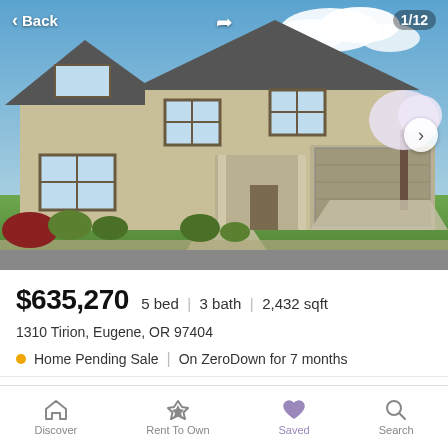[Figure (photo): Exterior photo of a two-story suburban home with beige/tan siding, dark roof, attached two-car garage, green lawn, flowering trees, and blue sky background. Navigation overlays show Back button, share icon, and 1/12 photo counter.]
$635,270  5 bed  |  3 bath  |  2,432 sqft
1310 Tirion, Eugene, OR 97404
Home Pending Sale  |  On ZeroDown for 7 months
RMLS  Listing courtesy of New Home Star Oregon, LLC
Discover  Rent To Own  Saved  Search